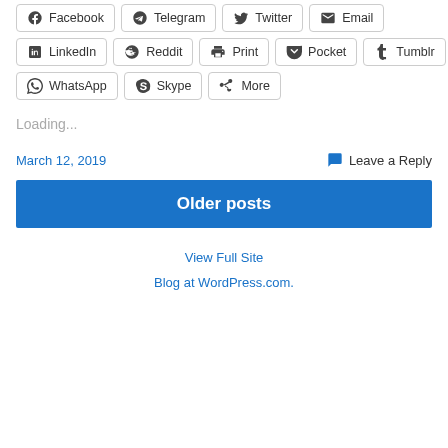Facebook
Telegram
Twitter
Email
LinkedIn
Reddit
Print
Pocket
Tumblr
WhatsApp
Skype
More
Loading...
March 12, 2019
Leave a Reply
Older posts
View Full Site
Blog at WordPress.com.